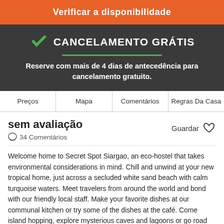Verificar a disponibilidade
CANCELAMENTO GRÁTIS
Reserve com mais de 4 dias de antecedência para cancelamento gratuito.
Preços
Mapa
Comentários
Regras Da Casa
sem avaliação
34 Comentários
Guardar
Welcome home to Secret Spot Siargao, an eco-hostel that takes environmental considerations in mind. Chill and unwind at your new tropical home, just across a secluded white sand beach with calm turquoise waters. Meet travelers from around the world and bond with our friendly local staff. Make your favorite dishes at our communal kitchen or try some of the dishes at the café. Come island hopping, explore mysterious caves and lagoons or go road tripping with us.
Secret Spot has since received...